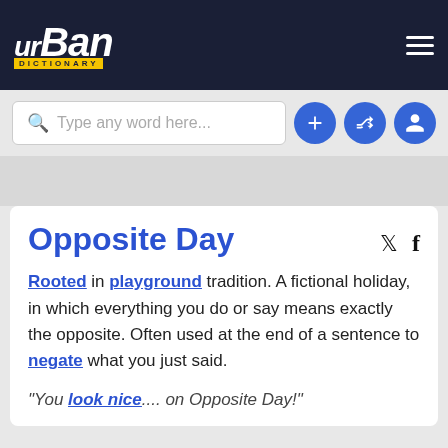[Figure (logo): Urban Dictionary logo and navigation bar with hamburger menu]
[Figure (screenshot): Search bar with placeholder 'Type any word here...' and three blue circular icon buttons (plus, shuffle, user)]
Opposite Day
Rooted in playground tradition. A fictional holiday, in which everything you do or say means exactly the opposite. Often used at the end of a sentence to negate what you just said.
"You look nice.... on Opposite Day!"